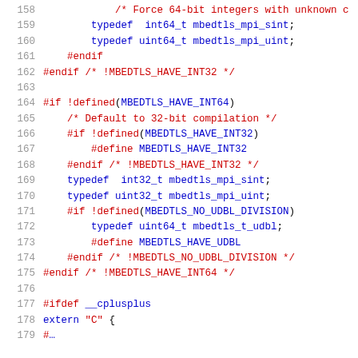158-178: C source code snippet showing preprocessor conditionals for mbedtls integer type definitions